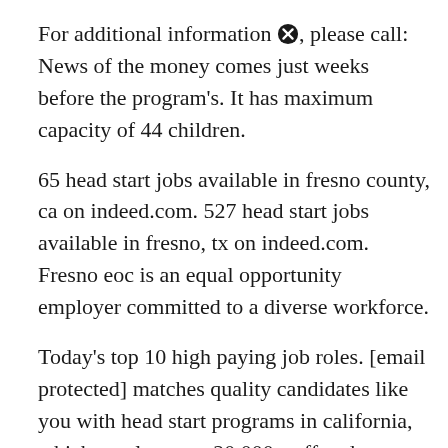For additional information, please call: News of the money comes just weeks before the program's. It has maximum capacity of 44 children.
65 head start jobs available in fresno county, ca on indeed.com. 527 head start jobs available in fresno, tx on indeed.com. Fresno eoc is an equal opportunity employer committed to a diverse workforce.
Today's top 10 high paying job roles. [email protected] matches quality candidates like you with head start programs in california, which employ over 20,000 staff and serve over 100,000 children annually. The kids are back on campus at washington head start in Selma, after a year of